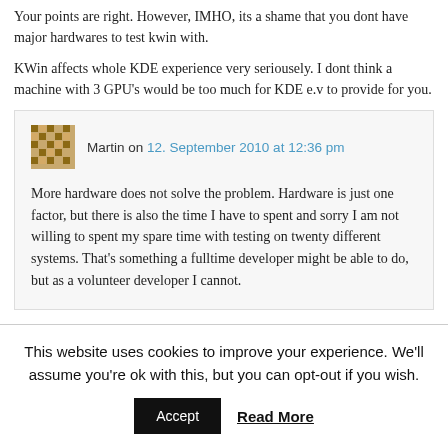Your points are right. However, IMHO, its a shame that you dont have major hardwares to test kwin with.
KWin affects whole KDE experience very seriousely. I dont think a machine with 3 GPU's would be too much for KDE e.v to provide for you.
Martin on 12. September 2010 at 12:36 pm
More hardware does not solve the problem. Hardware is just one factor, but there is also the time I have to spent and sorry I am not willing to spent my spare time with testing on twenty different systems. That's something a fulltime developer might be able to do, but as a volunteer developer I cannot.
This website uses cookies to improve your experience. We'll assume you're ok with this, but you can opt-out if you wish. Accept Read More